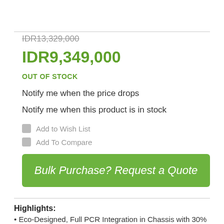IDR13,329,000
IDR9,349,000
OUT OF STOCK
Notify me when the price drops
Notify me when this product is in stock
Add to Wish List
Add To Compare
Bulk Purchase? Request a Quote
Highlights:
• Eco-Designed, Full PCR Integration in Chassis with 30% PCR plastic, gentle texture, and unique color accent (yellow pigment)